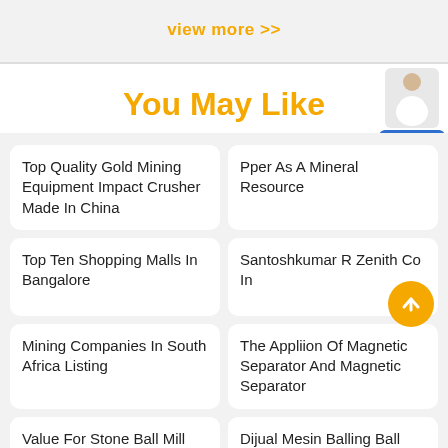view more >>
You May Like
Top Quality Gold Mining Equipment Impact Crusher Made In China
Pper As A Mineral Resource
Top Ten Shopping Malls In Bangalore
Santoshkumar R Zenith Co In
Mining Companies In South Africa Listing
The Appliion Of Magnetic Separator And Magnetic Separator
Value For Stone Ball Mill
Dijual Mesin Balling Ball Mill